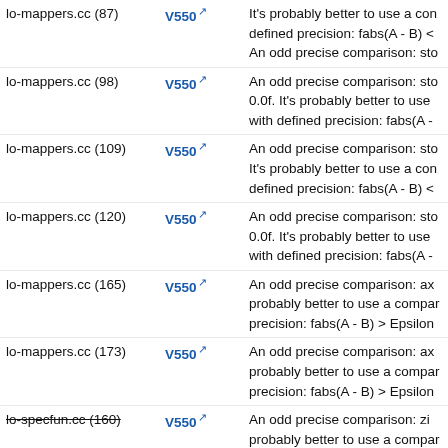| File | Code | Message |
| --- | --- | --- |
| lo-mappers.cc (87) | V550 | It's probably better to use a con defined precision: fabs(A - B) < An odd precise comparison: sto |
| lo-mappers.cc (98) | V550 | An odd precise comparison: sto 0.0f. It's probably better to use with defined precision: fabs(A - |
| lo-mappers.cc (109) | V550 | An odd precise comparison: sto It's probably better to use a con defined precision: fabs(A - B) < |
| lo-mappers.cc (120) | V550 | An odd precise comparison: sto 0.0f. It's probably better to use with defined precision: fabs(A - |
| lo-mappers.cc (165) | V550 | An odd precise comparison: ax probably better to use a compar precision: fabs(A - B) > Epsilon |
| lo-mappers.cc (173) | V550 | An odd precise comparison: ax probably better to use a compar precision: fabs(A - B) > Epsilon |
| lo-specfun.cc (160) | V550 | An odd precise comparison: zi probably better to use a compar precision: fabs(A - B) < Epsilon |
| lo-specfun.cc (230) | V550 | An odd precise comparison: z.i probably better to use a compar precision: fabs(A - B) < Epsilon An odd precise comparison: zi |
| lo-specfun.cc (313) | V550 | probably better to use a compar |